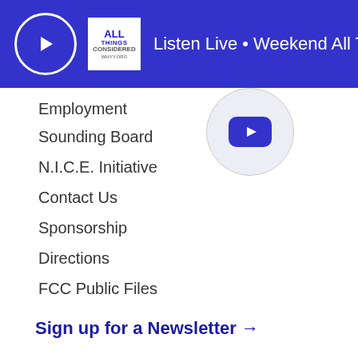Listen Live • Weekend All Things Considered
Employment
Sounding Board
N.I.C.E. Initiative
Contact Us
Sponsorship
Directions
FCC Public Files
Sign up for a Newsletter →
© WHYY MMXXII  Privacy Policy  Terms of Use for WHYY.org  WHYY is partnered with NPR PBS